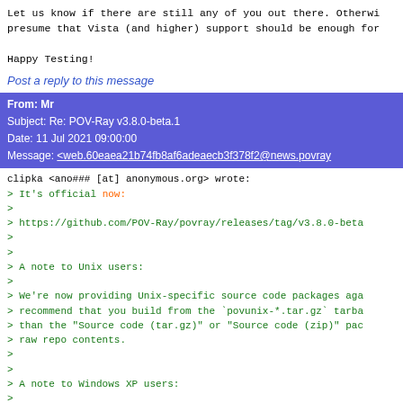Let us know if there are still any of you out there. Otherwi presume that Vista (and higher) support should be enough for
Happy Testing!
Post a reply to this message
From: Mr Subject: Re: POV-Ray v3.8.0-beta.1 Date: 11 Jul 2021 09:00:00 Message: <web.60eaea21b74fb8af6adeaecb3f378f2@news.povray...>
clipka <ano### [at] anonymous.org> wrote:
> It's official now:
>
> https://github.com/POV-Ray/povray/releases/tag/v3.8.0-beta
>
>
> A note to Unix users:
>
> We're now providing Unix-specific source code packages aga
> recommend that you build from the `povunix-*.tar.gz` tarba
> than the "Source code (tar.gz)" or "Source code (zip)" pac
> raw repo contents.
>
>
> A note to Windows XP users:
>
> Let us know if there are still any of you out there. Other
> presume that Vista (and higher) support should be enough f